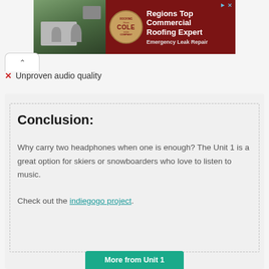[Figure (other): Advertisement banner for Cole Roofing Company. Dark red background with aerial photo of building on left, company logo circle in center, text 'Regions Top Commercial Roofing Expert' and 'Emergency Leak Repair' on right.]
Unproven audio quality
Conclusion:
Why carry two headphones when one is enough? The Unit 1 is a great option for skiers or snowboarders who love to listen to music.
Check out the indiegogo project.
More from Unit 1